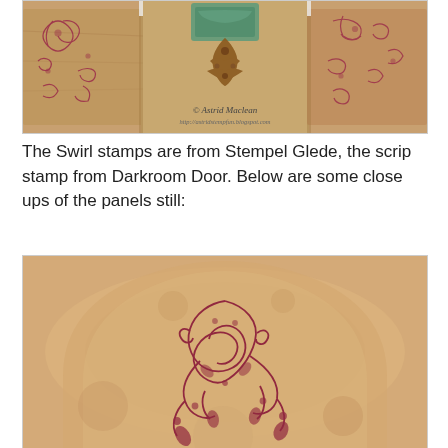[Figure (photo): Photo of decorative stamped art panels with brownish aged background, ornamental swirl stamps in dark red/maroon, metallic filigree embellishment in center, and teal/verdigris element at top. Copyright watermark: © Astrid Maclean, http://astridstempfun.blogspot.com]
The Swirl stamps are from Stempel Glede, the scrip stamp from Darkroom Door. Below are some close ups of the panels still:
[Figure (photo): Close up photo of a stamped art panel with aged brownish/tan background shaped with a rounded arch top. Decorative swirl/floral stamp design in dark maroon/red overlaid on the surface.]